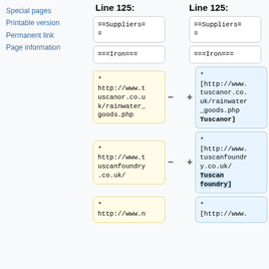Special pages
Printable version
Permanent link
Page information
Line 125:    Line 125:
==Suppliers==   ==Suppliers==
===Iron===   ===Iron===
* http://www.tuscanor.co.uk/rainwater_goods.php   * [http://www.tuscanor.co.uk/rainwater_goods.php Tuscanor]
* http://www.tuscanfoundry.co.uk/   * [http://www.tuscanfoundry.co.uk/ Tuscan foundry]
* http://www.n   * [http://www.